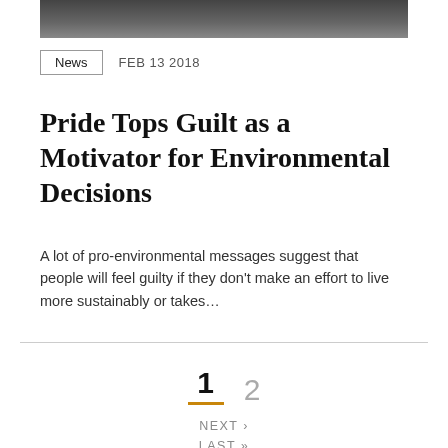[Figure (photo): Partial photograph at top of page, showing a blurred or cropped image]
News  FEB 13 2018
Pride Tops Guilt as a Motivator for Environmental Decisions
A lot of pro-environmental messages suggest that people will feel guilty if they don't make an effort to live more sustainably or takes…
1  2  NEXT ›  LAST »